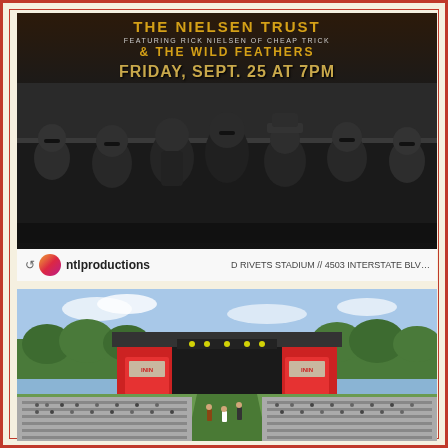[Figure (photo): Concert promotional poster in black and white showing band members with beards and sunglasses. Text overlay reads: THE NIELSEN TRUST FEATURING RICK NIELSEN OF CHEAP TRICK & THE WILD FEATHERS, FRIDAY, SEPT. 25 AT 7PM. Instagram repost by ntlproductions. Venue line: D RIVETS STADIUM // 4503 INTERSTATE BLVD. IN LOVES P...]
[Figure (photo): Outdoor concert venue photograph showing a large stage with red panels and crowd seated in bleachers in front of the stage, trees in background, clear sky.]